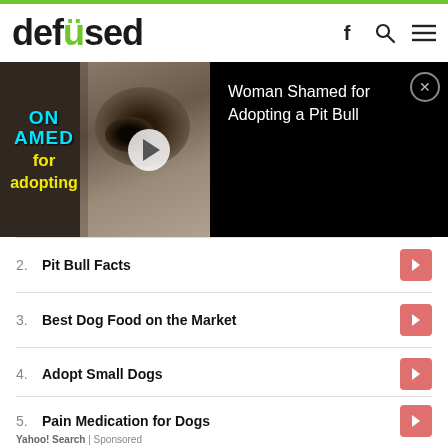defused
[Figure (screenshot): Video thumbnail showing a dog (pit bull) close-up with cyan and yellow text overlay. Adjacent black panel with text 'Woman Shamed for Adopting a Pit Bull' and a close button.]
2. Pit Bull Facts
3. Best Dog Food on the Market
4. Adopt Small Dogs
5. Pain Medication for Dogs
Yahoo! Search | Sponsored
When This Service Dog, Figo, Saw A Bus Heading Towards His Blind Owner, He